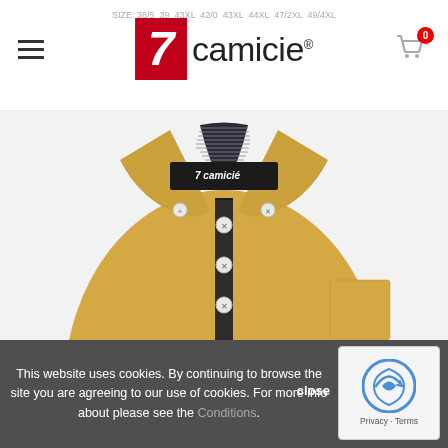SIZE: 38/5 39 43XL 42/0 43XL 44XL 47/2XL 49/4XL — 7camicie® logo — Cart (0)
[Figure (photo): Close-up of a yellow/gold dress shirt with double button-down collar, striped lining inside collar and placket, and 7camicie brand label visible inside collar. The shirt has dark contrast buttons on the placket.]
This website uses cookies. By continuing to browse the site you are agreeing to our use of cookies. For more info about please see the Conditions.
[Figure (logo): reCAPTCHA logo — Privacy · Terms]